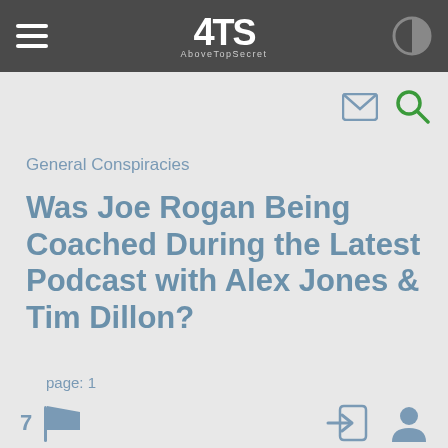ATS AboveTopSecret
General Conspiracies
Was Joe Rogan Being Coached During the Latest Podcast with Alex Jones & Tim Dillon?
page: 1
7 [flag icon]
<< 1 2 3 >>
share: